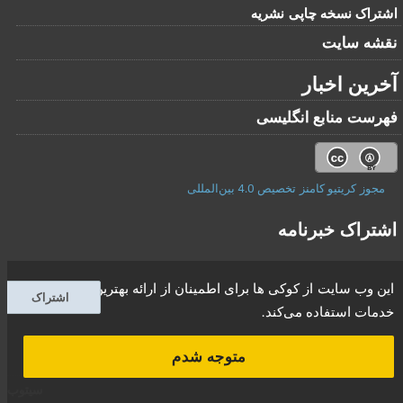اشتراک نسخه چاپی نشریه
نقشه سایت
آخرین اخبار
فهرست منابع انگلیسی
[Figure (logo): Creative Commons CC BY license badge]
مجوز کریتیو کامنز تخصیص 4.0 بین‌المللی
اشتراک خبرنامه
این وب سایت از کوکی ها برای اطمینان از ارائه بهترین خدمات استفاده می‌کند.
متوجه شدم
سیتوب